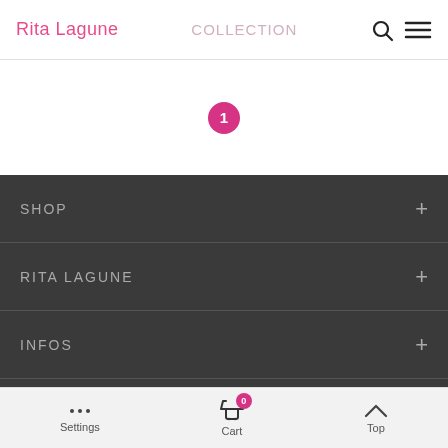Rita Lagune | COLLECTION | (search icon) (menu icon)
1
SHOP +
RITA LAGUNE +
INFOS +
FOLLOW US +
NEWSLETTER +
Settings | Cart 0 | Top